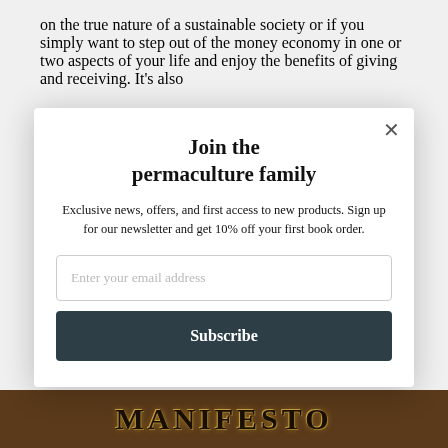on the true nature of a sustainable society or if you simply want to step out of the money economy in one or two aspects of your life and enjoy the benefits of giving and receiving. It's also
[Figure (screenshot): Modal popup overlay with title 'Join the permaculture family', description text, email input field, and Subscribe button]
Join the permaculture family
Exclusive news, offers, and first access to new products. Sign up for our newsletter and get 10% off your first book order.
[Figure (photo): Bottom bar showing partial book cover with text 'MANIFESTO' in large letters on a dark brown background]